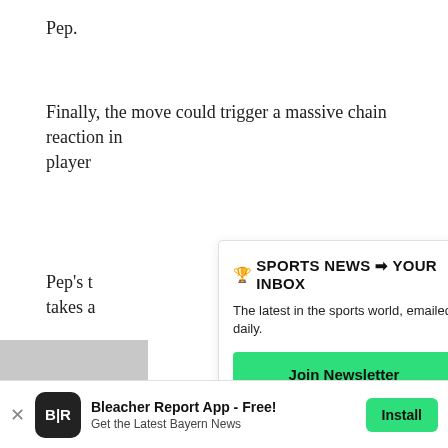Pep.
Finally, the move could trigger a massive chain reaction in player
Pep's t
takes a
Hence
Bayern
some t
[Figure (infographic): Newsletter signup overlay with title '🏆 SPORTS NEWS → YOUR INBOX', subtitle 'The latest in the sports world, emailed daily.', a green 'Join Newsletter' button, and a 'Maybe Later' link.]
[Figure (infographic): Bottom app install bar for Bleacher Report App - Free! with B|R logo, text 'Get the Latest Bayern News', and a green Install button.]